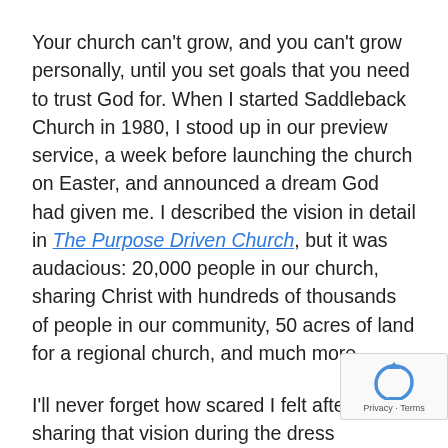Your church can't grow, and you can't grow personally, until you set goals that you need to trust God for. When I started Saddleback Church in 1980, I stood up in our preview service, a week before launching the church on Easter, and announced a dream God had given me. I described the vision in detail in The Purpose Driven Church, but it was audacious: 20,000 people in our church, sharing Christ with hundreds of thousands of people in our community, 50 acres of land for a regional church, and much more.
I'll never forget how scared I felt after sharing that vision during the dress rehearsal. A fear of failure overwhelmed me. I wondered what would happ God didn't step up and fulfill the dream he gave I hadn't just written my vision down in a journal, I